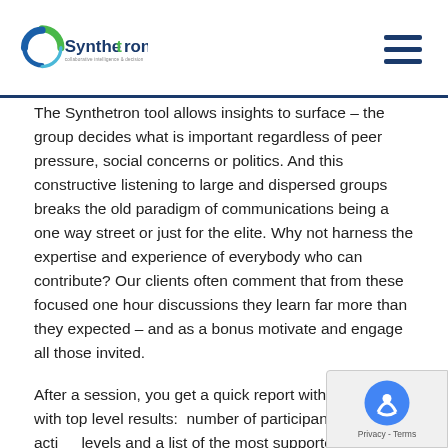Synthetron
The Synthetron tool allows insights to surface – the group decides what is important regardless of peer pressure, social concerns or politics. And this constructive listening to large and dispersed groups breaks the old paradigm of communications being a one way street or just for the elite. Why not harness the expertise and experience of everybody who can contribute? Our clients often comment that from these focused one hour discussions they learn far more than they expected – and as a bonus motivate and engage all those invited.
After a session, you get a quick report within 2 days with top level results:  number of participants, activity levels and a list of the most supported statements... the group.